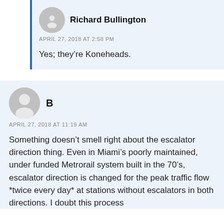Richard Bullington
APRIL 27, 2018 AT 2:58 PM
Yes; they’re Koneheads.
B
APRIL 27, 2018 AT 11:19 AM
Something doesn’t smell right about the escalator direction thing. Even in Miami’s poorly maintained, under funded Metrorail system built in the 70’s, escalator direction is changed for the peak traffic flow *twice every day* at stations without escalators in both directions. I doubt this process